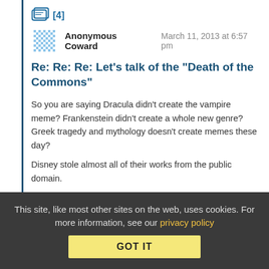[Figure (other): Comment/thread icon with count [4]]
Anonymous Coward   March 11, 2013 at 6:57 pm
Re: Re: Re: Let's talk of the "Death of the Commons"
So you are saying Dracula didn't create the vampire meme? Frankenstein didn't create a whole new genre? Greek tragedy and mythology doesn't create memes these day?
Disney stole almost all of their works from the public domain.
Cinderella anyone?
This site, like most other sites on the web, uses cookies. For more information, see our privacy policy